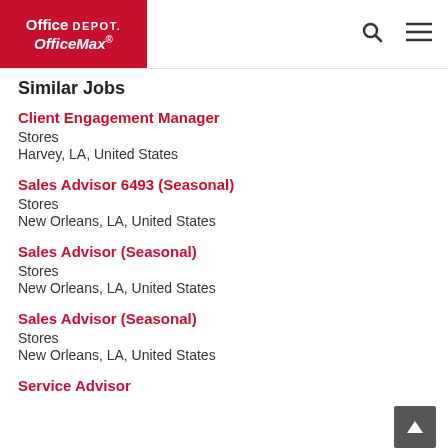Office Depot OfficeMax
Similar Jobs
Client Engagement Manager
Stores
Harvey, LA, United States
Sales Advisor 6493 (Seasonal)
Stores
New Orleans, LA, United States
Sales Advisor (Seasonal)
Stores
New Orleans, LA, United States
Sales Advisor (Seasonal)
Stores
New Orleans, LA, United States
Service Advisor